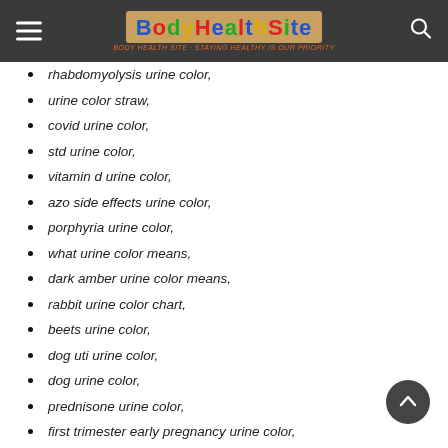Body Health Site
rhabdomyolysis urine color,
urine color straw,
covid urine color,
std urine color,
vitamin d urine color,
azo side effects urine color,
porphyria urine color,
what urine color means,
dark amber urine color means,
rabbit urine color chart,
beets urine color,
dog uti urine color,
dog urine color,
prednisone urine color,
first trimester early pregnancy urine color,
newborn urine color,
urine color hydration chart,